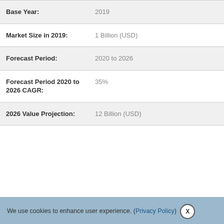| Field | Value |
| --- | --- |
| Base Year: | 2019 |
| Market Size in 2019: | 1 Billion (USD) |
| Forecast Period: | 2020 to 2026 |
| Forecast Period 2020 to 2026 CAGR: | 35% |
| 2026 Value Projection: | 12 Billion (USD) |
We use cookies to enhance user experience. (Privacy Policy) X